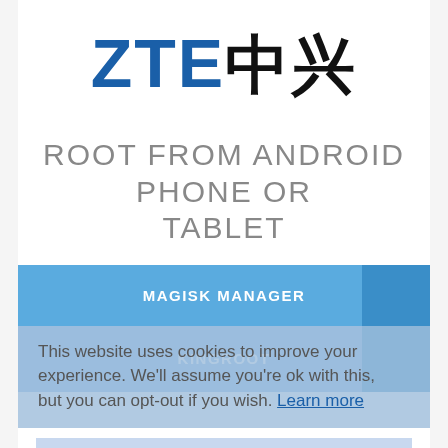[Figure (logo): ZTE logo with Chinese characters 中兴 in black. ZTE in blue, 中兴 in black.]
ROOT FROM ANDROID PHONE OR TABLET
MAGISK MANAGER
KINGROOT
This website uses cookies to improve your experience. We'll assume you're ok with this, but you can opt-out if you wish. Learn more
ROOT FROM PC
USEFUL LINKS ABOUT ROOTING